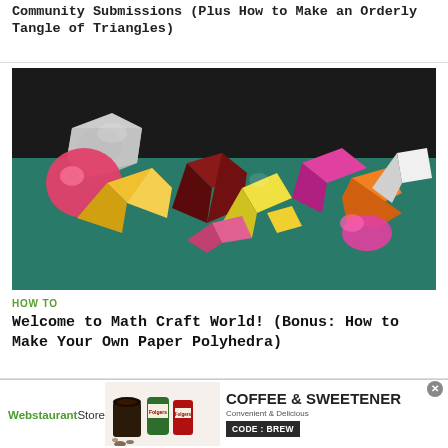Community Submissions (Plus How to Make an Orderly Tangle of Triangles)
[Figure (photo): Colorful paper polyhedra models arranged on a teal/green surface against a dark background. Various geometric shapes including dodecahedra, cubes, and other polyhedra made from multicolored paper in pink, yellow, orange, blue, white, and green.]
HOW TO
Welcome to Math Craft World! (Bonus: How to Make Your Own Paper Polyhedra)
[Figure (photo): Partial view of another article image — colorful geometric shapes preview]
[Figure (photo): Advertisement banner for WebstaurantStore: Coffee & Sweetener promotion with Folgers coffee products. Text reads: WebstaurantStore, COFFEE & SWEETENER, Convenient & Delicious, CODE: BREW]